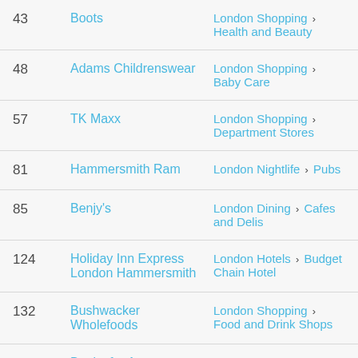| # | Name | Category |
| --- | --- | --- |
| 43 | Boots | London Shopping > Health and Beauty |
| 48 | Adams Childrenswear | London Shopping > Baby Care |
| 57 | TK Maxx | London Shopping > Department Stores |
| 81 | Hammersmith Ram | London Nightlife > Pubs |
| 85 | Benjy's | London Dining > Cafes and Delis |
| 124 | Holiday Inn Express London Hammersmith | London Hotels > Budget Chain Hotel |
| 132 | Bushwacker Wholefoods | London Shopping > Food and Drink Shops |
| 139 | Books for Amnesty | London Shopping > Books |